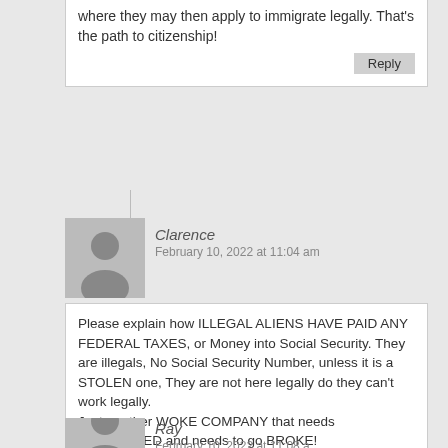where they may then apply to immigrate legally. That's the path to citizenship!
Reply
Clarence
February 10, 2022 at 11:04 am
Please explain how ILLEGAL ALIENS HAVE PAID ANY FEDERAL TAXES, or Money into Social Security. They are illegals, No Social Security Number, unless it is a STOLEN one, They are not here legally do they can't work legally.
Just another WOKE COMPANY that needs BOYCOTTED and needs to go BROKE!
Reply
Ray
February 10, 2022 at 11:08 a...